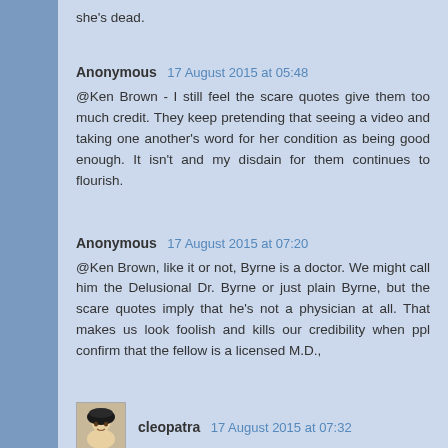she's dead.
Anonymous 17 August 2015 at 05:48
@Ken Brown - I still feel the scare quotes give them too much credit. They keep pretending that seeing a video and taking one another's word for her condition as being good enough. It isn't and my disdain for them continues to flourish.
Anonymous 17 August 2015 at 07:20
@Ken Brown, like it or not, Byrne is a doctor. We might call him the Delusional Dr. Byrne or just plain Byrne, but the scare quotes imply that he's not a physician at all. That makes us look foolish and kills our credibility when ppl confirm that the fellow is a licensed M.D.,
cleopatra 17 August 2015 at 07:32